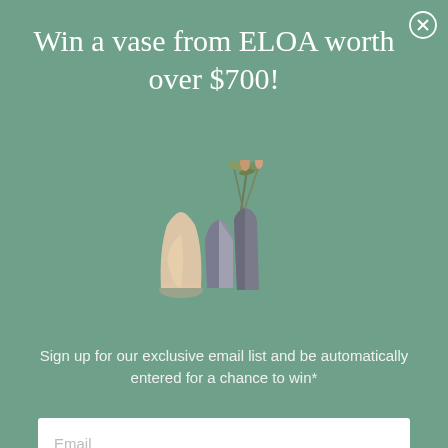Win a vase from ELOA worth over $700!
[Figure (illustration): Three decorative vases: a small cream/peach rounded vase, a tall dark grey angular vase with green plant stems, and a medium grey faceted vase]
Sign up for our exclusive email list and be automatically entered for a chance to win*
Email
Enter the Giveaway
*Please read our terms and conditions here